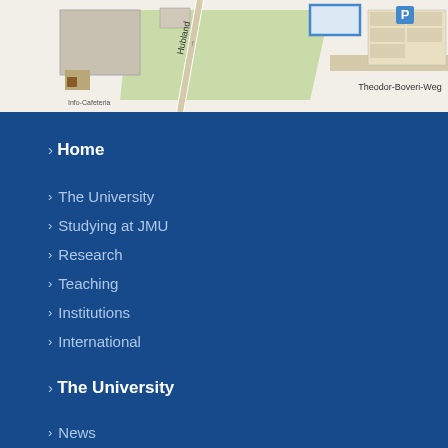[Figure (map): Street map showing university campus area with Hubland and Theodor-Boveri-Weg labels, green area, parking symbol P, and campus buildings]
Home
The University
Studying at JMU
Research
Teaching
Institutions
International
The University
News
Events
Dates and Deadlines
Degree Programmes and Subjects
Vacancies
Staff Members
Glossary of Administrative Terms